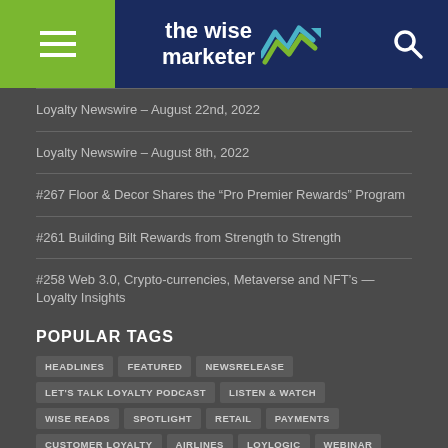the wise marketer
Loyalty Newswire – August 22nd, 2022
Loyalty Newswire – August 8th, 2022
#267 Floor & Decor Shares the “Pro Premier Rewards” Program
#261 Building Bilt Rewards from Strength to Strength
#258 Web 3.0, Crypto-currencies, Metaverse and NFT’s — Loyalty Insights
POPULAR TAGS
HEADLINES
FEATURED
NEWSRELEASE
LET'S TALK LOYALTY PODCAST
LISTEN & WATCH
WISE READS
SPOTLIGHT
RETAIL
PAYMENTS
CUSTOMER LOYALTY
AIRLINES
LOYLOGIC
WEBINAR
LOYALTY ACADEMY
TECHNOLOGY
PAULATHOMAS
HOSPITALITY
LOYALTY TRUTH
COLUMNISTS
HINDA
CX
NEWS RELEASE
EPSILON
AUSTRALIA